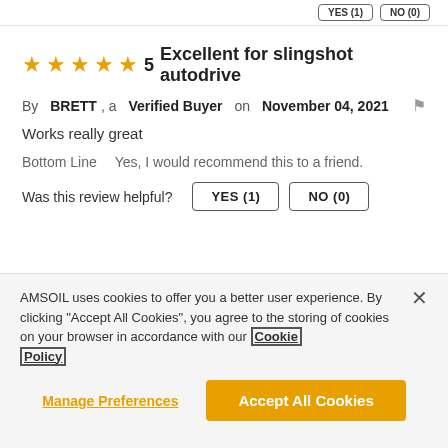★★★★★ 5 Excellent for slingshot autodrive
By BRETT, a Verified Buyer on November 04, 2021
Works really great
Bottom Line    Yes, I would recommend this to a friend.
Was this review helpful? YES (1)  NO (0)
AMSOIL uses cookies to offer you a better user experience. By clicking "Accept All Cookies", you agree to the storing of cookies on your browser in accordance with our Cookie Policy
Manage Preferences
Accept All Cookies